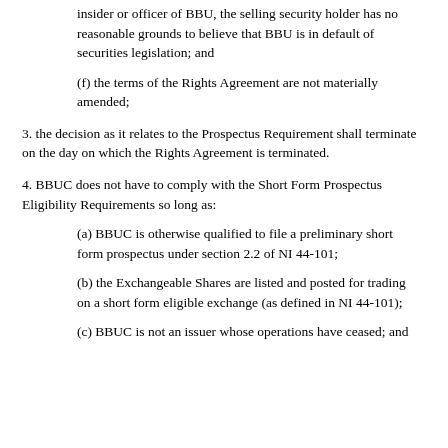insider or officer of BBU, the selling security holder has no reasonable grounds to believe that BBU is in default of securities legislation; and
(f) the terms of the Rights Agreement are not materially amended;
3. the decision as it relates to the Prospectus Requirement shall terminate on the day on which the Rights Agreement is terminated.
4. BBUC does not have to comply with the Short Form Prospectus Eligibility Requirements so long as:
(a) BBUC is otherwise qualified to file a preliminary short form prospectus under section 2.2 of NI 44-101;
(b) the Exchangeable Shares are listed and posted for trading on a short form eligible exchange (as defined in NI 44-101);
(c) BBUC is not an issuer whose operations have ceased; and